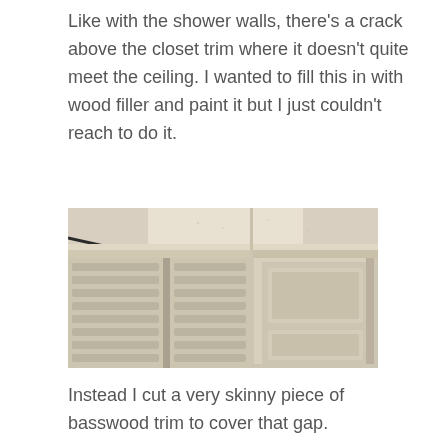Like with the shower walls, there's a crack above the closet trim where it doesn't quite meet the ceiling. I wanted to fill this in with wood filler and paint it but I just couldn't reach to do it.
[Figure (photo): Close-up photo looking up at a corner where closet trim meets the ceiling, showing louvered bi-fold closet doors on the left and a raised-panel door on the right, with a visible gap/crack between the trim and the ceiling.]
Instead I cut a very skinny piece of basswood trim to cover that gap.